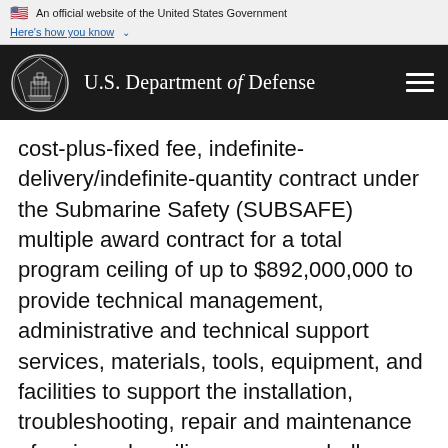An official website of the United States Government
Here's how you know
[Figure (logo): U.S. Department of Defense header with Pentagon seal logo and navigation hamburger menu]
cost-plus-fixed fee, indefinite-delivery/indefinite-quantity contract under the Submarine Safety (SUBSAFE) multiple award contract for a total program ceiling of up to $892,000,000 to provide technical management, administrative and technical support services, materials, tools, equipment, and facilities to support the installation, troubleshooting, repair and maintenance of main and auxiliary weapons, hull, mechanical and electrical equipment to support SUBSAFE and Level I material work onboard various class of Navy submarines. Work is